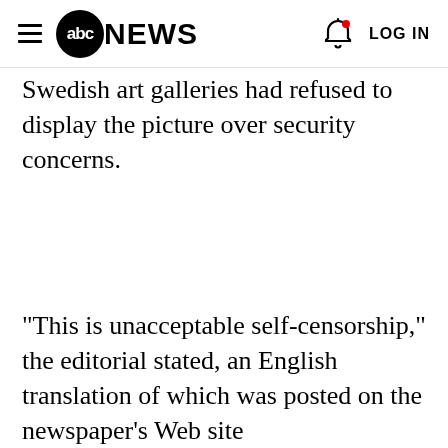abc NEWS  LOG IN
Swedish art galleries had refused to display the picture over security concerns.
"This is unacceptable self-censorship," the editorial stated, an English translation of which was posted on the newspaper's Web site